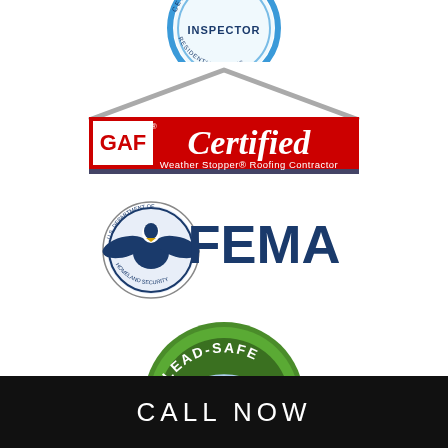[Figure (logo): Certified Inspector Residential Roofs circular badge logo (partial, top cropped)]
[Figure (logo): GAF Certified Weather Stopper Roofing Contractor logo with red house roof outline]
[Figure (logo): FEMA logo with U.S. Department of Homeland Security eagle seal and FEMA text in dark blue]
[Figure (logo): EPA Lead-Safe Certified Firm green oval badge]
CALL NOW